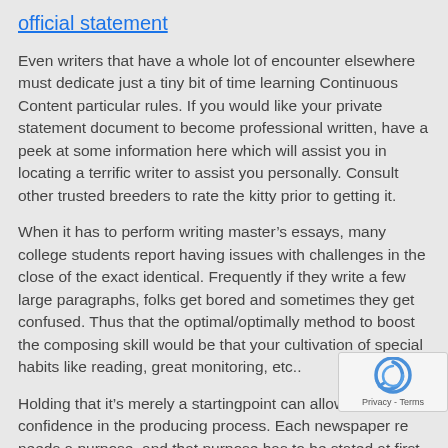official statement
Even writers that have a whole lot of encounter elsewhere must dedicate just a tiny bit of time learning Continuous Content particular rules. If you would like your private statement document to become professional written, have a peek at some information here which will assist you in locating a terrific writer to assist you personally. Consult other trusted breeders to rate the kitty prior to getting it.
When it has to perform writing master’s essays, many college students report having issues with challenges in the close of the exact identical. Frequently if they write a few large paragraphs, folks get bored and sometimes they get confused. Thus that the optimal/optimally method to boost the composing skill would be that your cultivation of special habits like reading, great monitoring, etc..
Holding that it’s merely a startingpoint can allow you to re confidence in the producing process. Each newspaper re needs a purpose, and that purpose has to be stated at first so the claim and the argument of a real object has to be stated